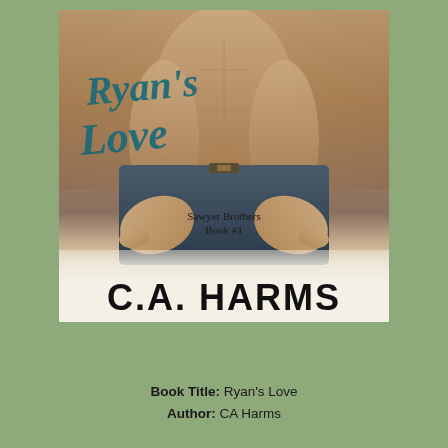[Figure (photo): Book cover for Ryan's Love by C.A. Harms, Sawyer Brothers Book #1. Shows a shirtless male torso in jeans with hands at waist. Title in teal cursive script, author name in large bold black text at bottom of cover.]
Book Title: Ryan's Love
Author: CA Harms